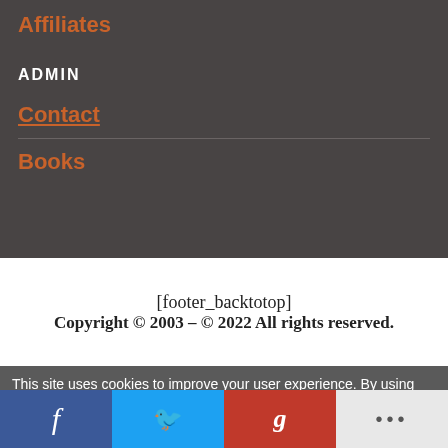Affiliates
ADMIN
Contact
Books
[footer_backtotop]
Copyright © 2003 - © 2022 All rights reserved.
This site uses cookies to improve your user experience. By using the site you consent to the use of cookies as per our
f  [Twitter]  g+  ...